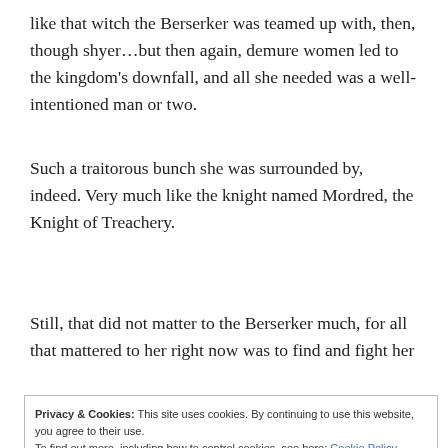like that witch the Berserker was teamed up with, then, though shyer…but then again, demure women led to the kingdom's downfall, and all she needed was a well-intentioned man or two.
Such a traitorous bunch she was surrounded by, indeed. Very much like the knight named Mordred, the Knight of Treachery.
Still, that did not matter to the Berserker much, for all that mattered to her right now was to find and fight her
Privacy & Cookies: This site uses cookies. By continuing to use this website, you agree to their use.
To find out more, including how to control cookies, see here: Cookie Policy
Close and accept
those explosions, too, so she rushed past the blindfolded